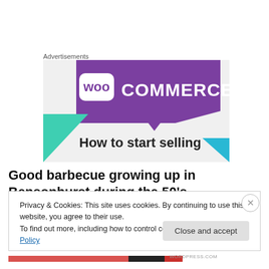Advertisements
[Figure (screenshot): WooCommerce advertisement banner with purple and white background, teal and blue geometric shapes, WooCommerce logo, and partial text 'How to start selling']
Good barbecue growing up in Bensonhurst during the 50's
Privacy & Cookies: This site uses cookies. By continuing to use this website, you agree to their use.
To find out more, including how to control cookies, see here: Cookie Policy
Close and accept